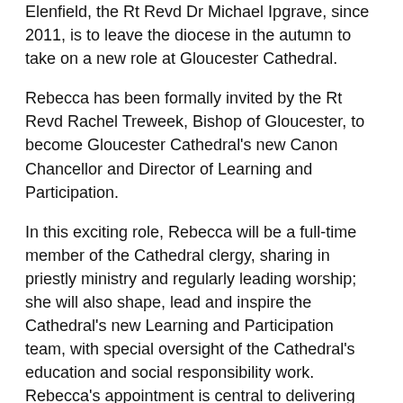Elenfield, the Rt Revd Dr Michael Ipgrave, since 2011, is to leave the diocese in the autumn to take on a new role at Gloucester Cathedral.
Rebecca has been formally invited by the Rt Revd Rachel Treweek, Bishop of Gloucester, to become Gloucester Cathedral's new Canon Chancellor and Director of Learning and Participation.
In this exciting role, Rebecca will be a full-time member of the Cathedral clergy, sharing in priestly ministry and regularly leading worship; she will also shape, lead and inspire the Cathedral's new Learning and Participation team, with special oversight of the Cathedral's education and social responsibility work. Rebecca's appointment is central to delivering the Cathedral's vision and strategy as it seeks to be a beacon of hope for all, using its assets and partnerships to make a positive contribution to the city, diocese and county.